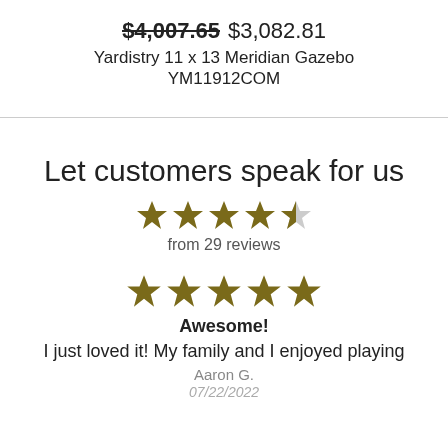$4,007.65 $3,082.81
Yardistry 11 x 13 Meridian Gazebo YM11912COM
Let customers speak for us
from 29 reviews
Awesome!
I just loved it! My family and I enjoyed playing
Aaron G.
07/22/2022